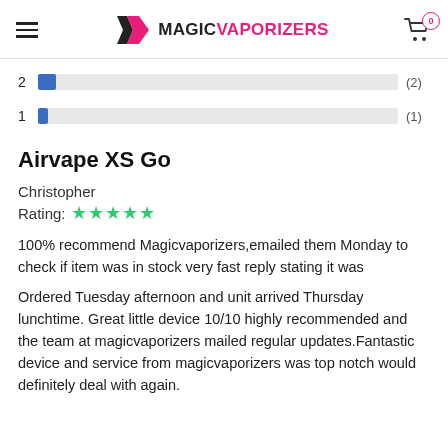Magic Vaporizers
[Figure (bar-chart): Rating distribution]
Airvape XS Go
Christopher
Rating: ★★★★★
100% recommend Magicvaporizers,emailed them Monday to check if item was in stock very fast reply stating it was
Ordered Tuesday afternoon and unit arrived Thursday lunchtime. Great little device 10/10 highly recommended and the team at magicvaporizers mailed regular updates.Fantastic device and service from magicvaporizers was top notch would definitely deal with again.